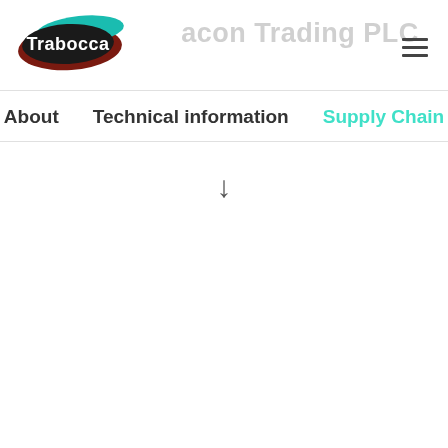[Figure (logo): Trabocca logo with colorful paint brush strokes background in teal, dark red and black with white text 'Trabocca']
Trabocca Trading PLC
About  Technical information  Supply Chain
↓